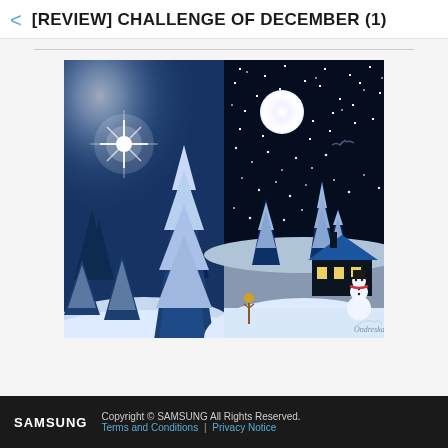[REVIEW] CHALLENGE OF DECEMBER (1)
[Figure (illustration): Two side-by-side winter night scene illustrations. Left side: a photorealistic snowy forest with a bright star/light glowing above snow-covered pine trees against a blue night sky. Right side: a cartoon/digital art style winter scene with a dark starry sky, full moon, snow-covered pine trees, a small dark house with blue roof and lit windows, a snowman, and a small figure. An artist signature reads 'Ondreska' at the bottom right.]
SAMSUNG   Copyright © SAMSUNG All Rights Reserved.   Terms and Conditions | Privacy Notice